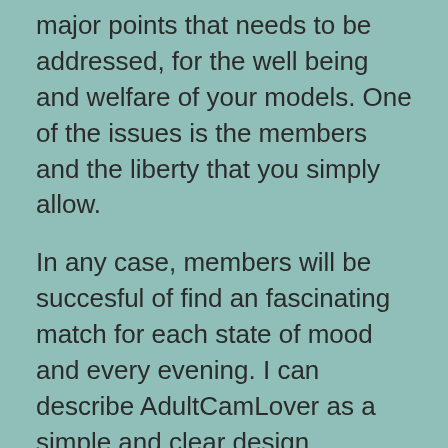major points that needs to be addressed, for the well being and welfare of your models. One of the issues is the members and the liberty that you simply allow.
In any case, members will be succesful of find an fascinating match for each state of mood and every evening. I can describe AdultCamLover as a simple and clear design webcam site, which can be available on mobile. As the standard, you possibly can simply find up to 1000 models anytime. AdultCamLover service filled with live adult sex periods. There are plenty of secret features I